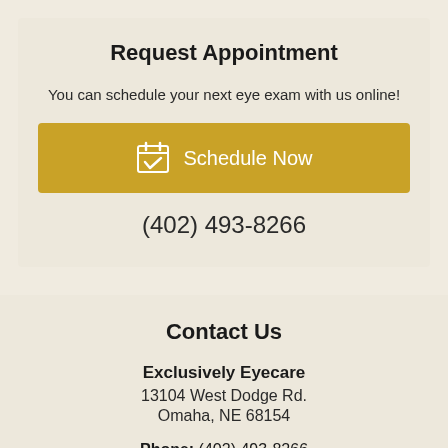Request Appointment
You can schedule your next eye exam with us online!
Schedule Now
(402) 493-8266
Contact Us
Exclusively Eyecare
13104 West Dodge Rd.
Omaha, NE 68154
Phone: (402) 493-8266